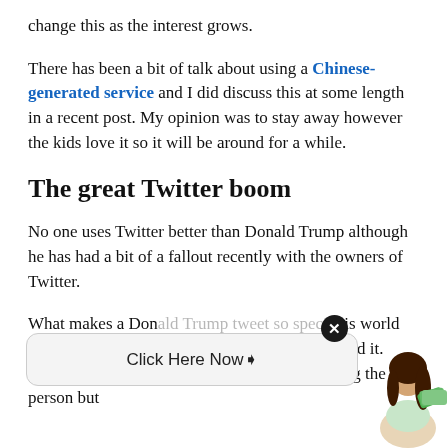change this as the interest grows.
There has been a bit of talk about using a Chinese-generated service and I did discuss this at some length in a recent post. My opinion was to stay away however the kids love it so it will be around for a while.
The great Twitter boom
No one uses Twitter better than Donald Trump although he has had a bit of a fallout recently with the owners of Twitter.
What makes a Don... is world press picks ... last word and meaning behind it. Before you ta... sides on this I am not promoting the person but